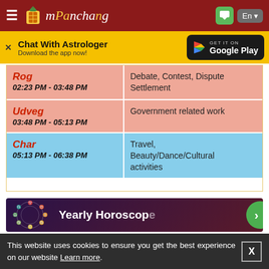mPanchang
[Figure (screenshot): Chat With Astrologer ad banner with Google Play button]
| Name / Time | Activities |
| --- | --- |
| Rog
02:23 PM - 03:48 PM | Debate, Contest, Dispute Settlement |
| Udveg
03:48 PM - 05:13 PM | Government related work |
| Char
05:13 PM - 06:38 PM | Travel, Beauty/Dance/Cultural activities |
[Figure (infographic): Yearly Horoscope banner with zodiac wheel]
This website uses cookies to ensure you get the best experience on our website Learn more.